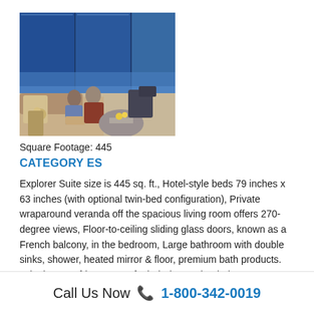[Figure (photo): A couple sitting on a sofa in a luxury cruise ship suite with large windows overlooking water at dusk, with a round coffee table in front of them.]
Square Footage: 445
CATEGORY ES
Explorer Suite size is 445 sq. ft., Hotel-style beds 79 inches x 63 inches (with optional twin-bed configuration), Private wraparound veranda off the spacious living room offers 270-degree views, Floor-to-ceiling sliding glass doors, known as a French balcony, in the bedroom, Large bathroom with double sinks, shower, heated mirror & floor, premium bath products. Telephone, refrigerator, safe, hair dryer & bottled water replenished daily. Bathrobe and slippers available upon request, Individual climate control, Space
Call Us Now 📞 1-800-342-0019